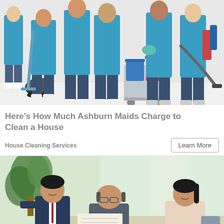[Figure (photo): Group of cleaning staff in blue aprons holding cleaning equipment including vacuum cleaner, mops, and buckets on white background]
Here's How Much Ashburn Maids Charge to Clean a House
House Cleaning Services
[Figure (photo): Three Asian people — two younger men and a woman — gathered around a table in a bright office with plants, appearing to discuss or review documents]